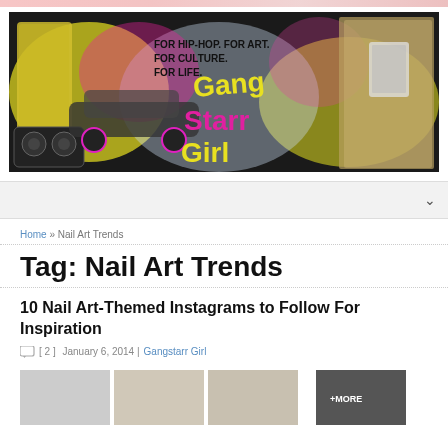[Figure (illustration): Gangstarr Girl blog banner: colorful hip-hop themed collage with text 'FOR HIP-HOP. FOR ART. FOR CULTURE. FOR LIFE.' and stylized 'Gangstarr Girl' logo, featuring a woman and urban imagery]
Home » Nail Art Trends
Tag: Nail Art Trends
10 Nail Art-Themed Instagrams to Follow For Inspiration
[ 2 ]  January 6, 2014 | Gangstarr Girl